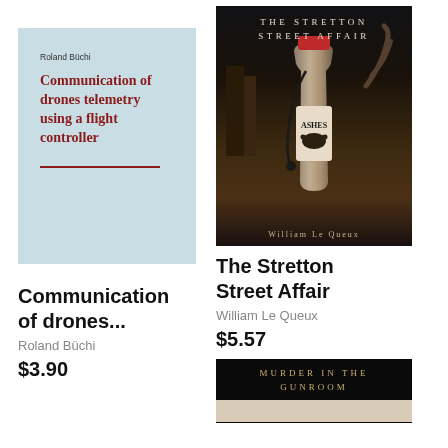[Figure (illustration): Book cover: light blue background with author name 'Roland Büchi' and red title 'Communication of drones telemetry using a flight controller' with a red horizontal line]
[Figure (photo): Book cover: dark background with 'The Stretton Street Affair' title, a vintage bottle labeled 'Ashes', and author name 'William Le Queux']
Communication of drones...
The Stretton Street Affair
Roland Büchi
William Le Queux
$3.90
$5.57
[Figure (illustration): Partial book cover: dark background with 'MURDER IN THE GUNROOM' title text visible at bottom of page]